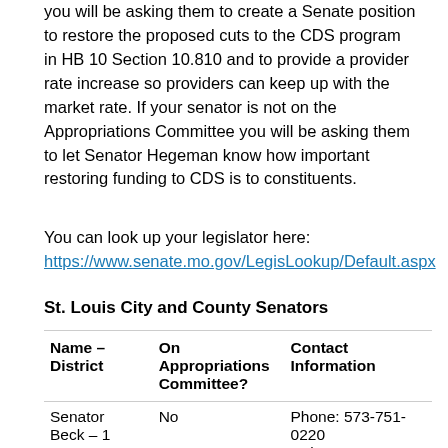you will be asking them to create a Senate position to restore the proposed cuts to the CDS program in HB 10 Section 10.810 and to provide a provider rate increase so providers can keep up with the market rate. If your senator is not on the Appropriations Committee you will be asking them to let Senator Hegeman know how important restoring funding to CDS is to constituents.
You can look up your legislator here: https://www.senate.mo.gov/LegisLookup/Default.aspx
St. Louis City and County Senators
| Name – District | On Appropriations Committee? | Contact Information |
| --- | --- | --- |
| Senator Beck – 1 | No | Phone: 573-751-0220
Twitter: |